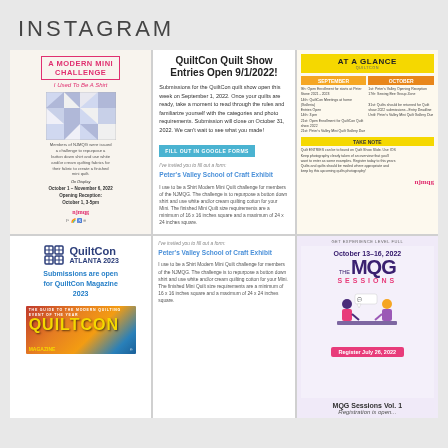INSTAGRAM
[Figure (illustration): A Modern Mini Challenge - I Used To Be A Shirt promotional graphic with quilt pattern and event details for NJMQG]
[Figure (screenshot): QuiltCon Quilt Show Entries Open 9/1/2022 announcement with submission details and Google Forms link]
[Figure (infographic): AT A GLANCE newsletter section with September and October calendar items and Take Note section with NJMQG logo]
[Figure (screenshot): QuiltCon Atlanta 2023 logo and QuiltCon Magazine cover with text: Submissions are open for QuiltCon Magazine 2023]
[Figure (screenshot): Peter's Valley School of Craft Exhibit form invitation details for I Used To Be A Shirt Modern Mini Quilt challenge]
[Figure (illustration): MQG Sessions Vol. 1 - October 13-16 2022 promotional card with Register July 26 2022 button and two illustrated figures]